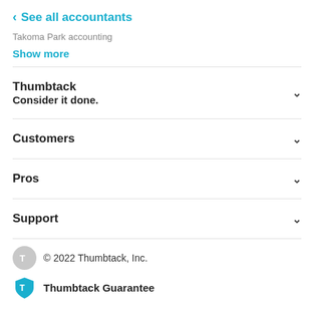< See all accountants
Takoma Park accounting
Show more
Thumbtack
Consider it done.
Customers
Pros
Support
© 2022 Thumbtack, Inc.
Thumbtack Guarantee